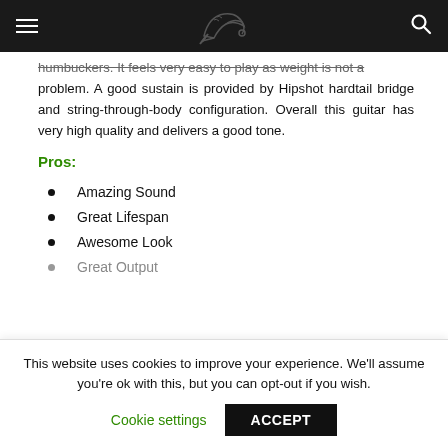[Guitar website header with hamburger menu, guitar logo, and search icon]
humbuckers. It feels very easy to play as weight is not a problem. A good sustain is provided by Hipshot hardtail bridge and string-through-body configuration. Overall this guitar has very high quality and delivers a good tone.
Pros:
Amazing Sound
Great Lifespan
Awesome Look
Great Output
This website uses cookies to improve your experience. We'll assume you're ok with this, but you can opt-out if you wish. Cookie settings ACCEPT